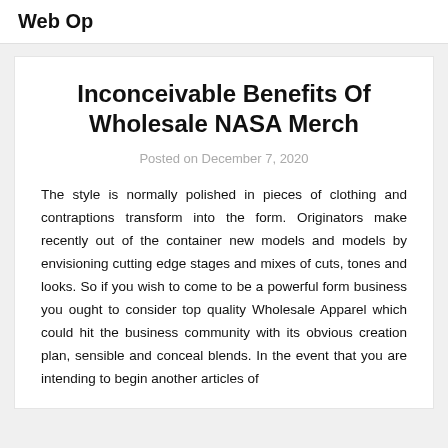Web Op
Inconceivable Benefits Of Wholesale NASA Merch
Posted on December 7, 2020
The style is normally polished in pieces of clothing and contraptions transform into the form. Originators make recently out of the container new models and models by envisioning cutting edge stages and mixes of cuts, tones and looks. So if you wish to come to be a powerful form business you ought to consider top quality Wholesale Apparel which could hit the business community with its obvious creation plan, sensible and conceal blends. In the event that you are intending to begin another articles of